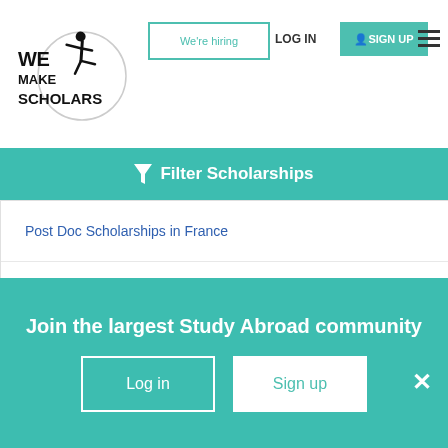[Figure (logo): We Make Scholars logo — circular logo with silhouette of person and bold text WE MAKE SCHOLARS]
We're hiring
LOG IN
SIGN UP
Filter Scholarships
Post Doc Scholarships in France
Diploma Scholarships in France
Training & Short courses Scholarships in France
Conferences & Travel Grants Scholarships in France
Research Fellow/ Scientist Scholarships in France
Join the largest Study Abroad community
Log in
Sign up